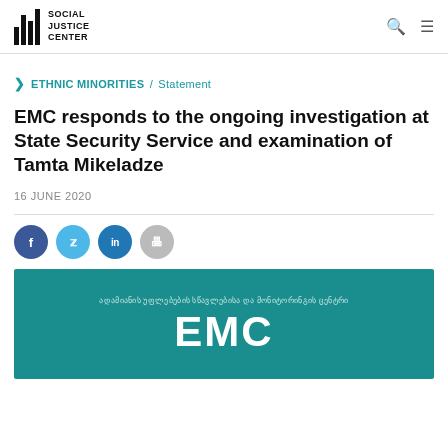Social Justice Center
ETHNIC MINORITIES / Statement
EMC responds to the ongoing investigation at State Security Service and examination of Tamta Mikeladze
16 JUNE 2020
[Figure (illustration): Social share buttons: Facebook, Twitter, LinkedIn, Print]
[Figure (logo): EMC (Social Justice Center) teal banner with Georgian text and large EMC logo in white]